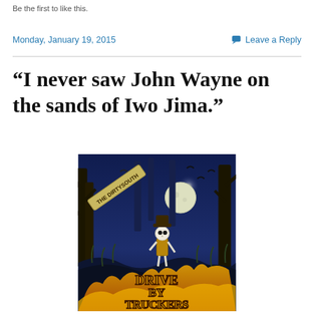Be the first to like this.
Monday, January 19, 2015
Leave a Reply
“I never saw John Wayne on the sands of Iwo Jima.”
[Figure (illustration): Album cover art for Drive-By Truckers – The Dirty South. Dark blue illustrated scene with skeletal figure in cowboy hat under a full moon, surrounded by trees and ravens. Bold illustrated text reads 'DRIVE BY TRUCKERS' at the bottom and 'THE DIRTY SOUTH' on a banner at the top.]